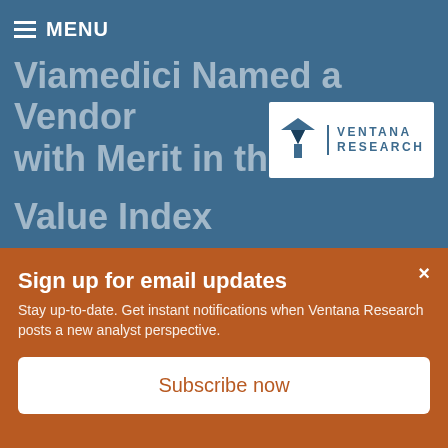Viamedici Named a Vendor with Merit in the 2... Value Index
Posted by Mark Smith on Aug 13, 2021 3:00:00 AM
We are happy to share some insights about Viamedici EPIM drawn from our latest Value Index research, which assesses how well vendors' offerings meet buyers' requirements.
Sign up for email updates
Stay up-to-date. Get instant notifications when Ventana Research posts a new analyst perspective.
Subscribe now